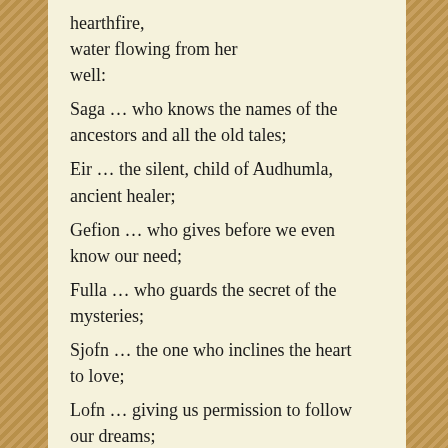hearthfire,
water flowing from her well:
Saga … who knows the names of the ancestors and all the old tales;
Eir … the silent, child of Audhumla, ancient healer;
Gefion … who gives before we even know our need;
Fulla … who guards the secret of the mysteries;
Sjofn … the one who inclines the heart to love;
Lofn … giving us permission to follow our dreams;
Sin … our advocate, who wards the doors we need to close;
Hlin … the protector who shields us from harm;